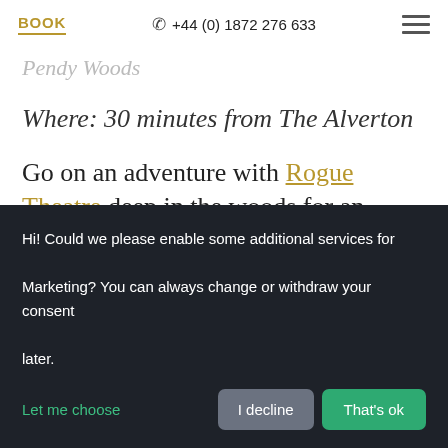BOOK | +44 (0) 1872 276 633
Pendy Woods
Where: 30 minutes from The Alverton
Go on an adventure with Rogue Theatre deep in the woods for an
Hi! Could we please enable some additional services for Marketing? You can always change or withdraw your consent later.
Let me choose | I decline | That's ok